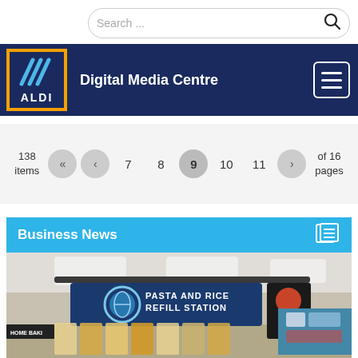[Figure (screenshot): Search bar with placeholder text 'Search ...' and magnifying glass icon]
[Figure (logo): ALDI logo in orange-bordered box with blue background, white diagonal lines and 'ALDI' text, next to 'Digital Media Centre' header with hamburger menu]
138 items
« ‹ 7 8 9 10 11 › of 16 pages
Business News
[Figure (photo): Interior of ALDI store showing a 'Pasta and Rice Refill Station' display with transparent dispensers containing various dry goods, HOME BAKING signage visible on left]